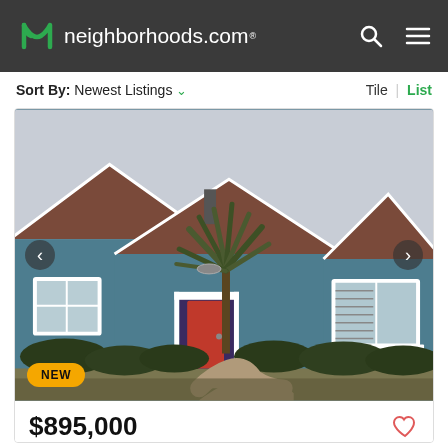neighborhoods.com
Sort By: Newest Listings  Tile | List
[Figure (photo): Exterior photo of a teal/blue ranch-style house with a red front door, brown roof, a large palm-like tree in front, and shrubs along the base. Navigation arrows on left and right sides. NEW badge in lower left.]
$895,000